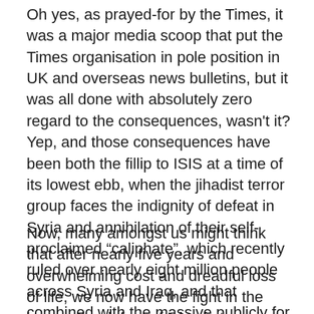Oh yes, as prayed-for by the Times, it was a major media scoop that put the Times organisation in pole position in UK and overseas news bulletins, but it was all done with absolutely zero regard to the consequences, wasn't it? Yep, and those consequences have been both the fillip to ISIS at a time of its lowest ebb, when the jihadist terror group faces the indignity of defeat in Syria and annihilation of their self-proclaimed “caliphate”, which recently ruled over nearly eight million people across Syria and Iraq, and that combined with the massive publicly for their cause, which is the life blood of their bloodthirsty quest to rule the World
Now, many amongst us might think that after nearly five years and overwhelming cost and dreadful loss of life, we now have the fight in the bag so the defeat of Islamic terrorism is complete, eh? Well dream-on those people,